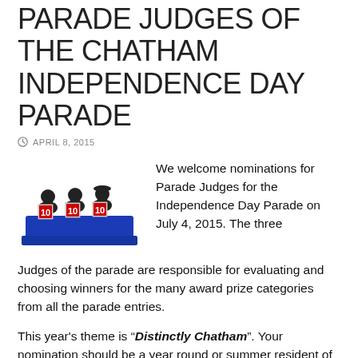PARADE JUDGES OF THE CHATHAM INDEPENDENCE DAY PARADE
APRIL 8, 2015
[Figure (illustration): Cartoon illustration of three stick-figure judges sitting at a blue table, each holding up a '10' score card with red numbers.]
We welcome nominations for Parade Judges for the Independence Day Parade on July 4, 2015. The three Judges of the parade are responsible for evaluating and choosing winners for the many award prize categories from all the parade entries.
This year's theme is “Distinctly Chatham”. Your nomination should be a year round or summer resident of Chatham who has demonstrated fairness and leadership in our community.
The Independence Day Parade Committee will review all the